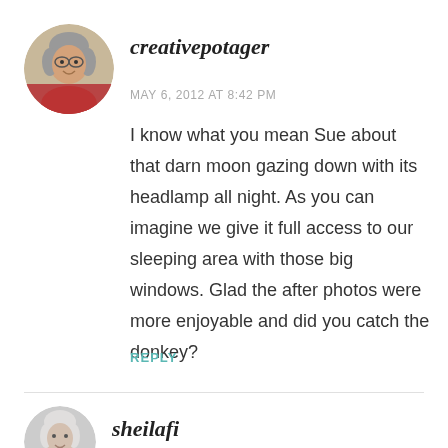[Figure (photo): Circular avatar photo of a woman with gray hair and glasses, smiling]
creativepotager
MAY 6, 2012 AT 8:42 PM
I know what you mean Sue about that darn moon gazing down with its headlamp all night. As you can imagine we give it full access to our sleeping area with those big windows. Glad the after photos were more enjoyable and did you catch the donkey?
REPLY
[Figure (photo): Circular avatar photo of a woman with gray/white hair]
sheilafi